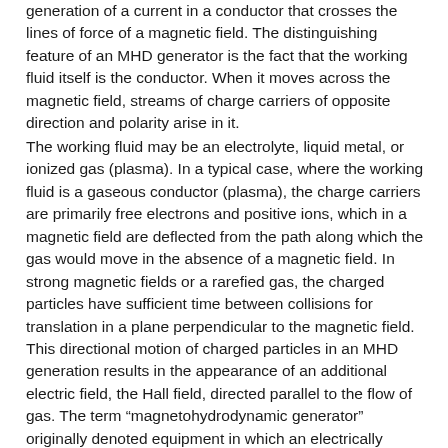generation of a current in a conductor that crosses the lines of force of a magnetic field. The distinguishing feature of an MHD generator is the fact that the working fluid itself is the conductor. When it moves across the magnetic field, streams of charge carriers of opposite direction and polarity arise in it.
The working fluid may be an electrolyte, liquid metal, or ionized gas (plasma). In a typical case, where the working fluid is a gaseous conductor (plasma), the charge carriers are primarily free electrons and positive ions, which in a magnetic field are deflected from the path along which the gas would move in the absence of a magnetic field. In strong magnetic fields or a rarefied gas, the charged particles have sufficient time between collisions for translation in a plane perpendicular to the magnetic field.
This directional motion of charged particles in an MHD generation results in the appearance of an additional electric field, the Hall field, directed parallel to the flow of gas. The term “magnetohydrodynamic generator” originally denoted equipment in which an electrically conducting liquid was the working fluid. Later the term was also applied to all other